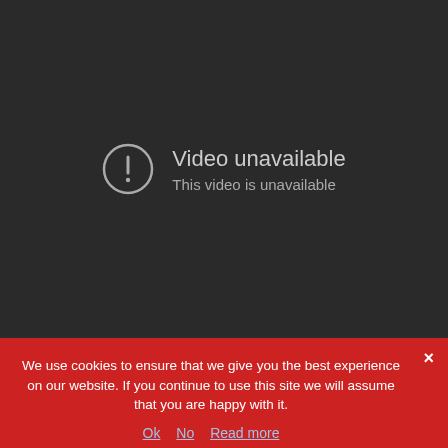[Figure (screenshot): YouTube-style video player showing 'Video unavailable' error message on dark background. Circular exclamation mark icon on the left, with text 'Video unavailable' and 'This video is unavailable' on the right.]
We use cookies to ensure that we give you the best experience on our website. If you continue to use this site we will assume that you are happy with it.
Ok  No  Read more